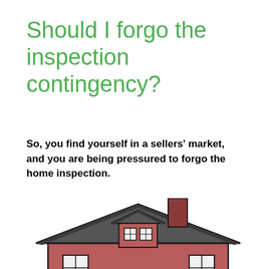Should I forgo the inspection contingency?
So, you find yourself in a sellers' market, and you are being pressured to forgo the home inspection.
[Figure (illustration): Cartoon illustration of a red house with a dark grey roof, chimney, dormer window with a small triangular roof, and two windows visible at the bottom edge of the image.]